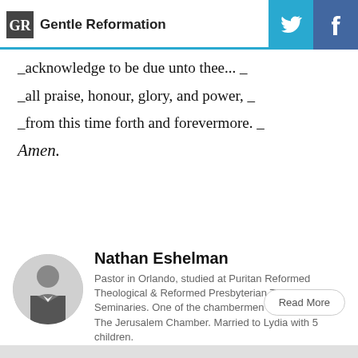Gentle Reformation
_acknowledge to be due unto thee... _
_all praise, honour, glory, and power, _
_from this time forth and forevermore. _
Amen.
[Figure (photo): Circular black and white portrait photo of Nathan Eshelman]
Nathan Eshelman
Pastor in Orlando, studied at Puritan Reformed Theological & Reformed Presbyterian Theological Seminaries. One of the chambermen on the podcast The Jerusalem Chamber. Married to Lydia with 5 children.